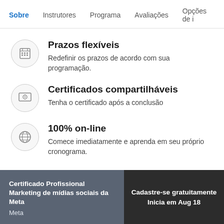Sobre  Instrutores  Programa  Avaliações  Opções de i
Prazos flexíveis
Redefinir os prazos de acordo com sua programação.
Certificados compartilháveis
Tenha o certificado após a conclusão
100% on-line
Comece imediatamente e aprenda em seu próprio cronograma.
Certificado Profissional Marketing de mídias sociais da Meta
Meta
Cadastre-se gratuitamente
Inicia em Aug 18